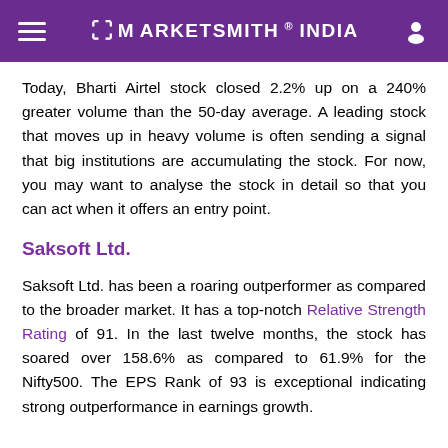MarketSmith India
Today, Bharti Airtel stock closed 2.2% up on a 240% greater volume than the 50-day average. A leading stock that moves up in heavy volume is often sending a signal that big institutions are accumulating the stock. For now, you may want to analyse the stock in detail so that you can act when it offers an entry point.
Saksoft Ltd.
Saksoft Ltd. has been a roaring outperformer as compared to the broader market. It has a top-notch Relative Strength Rating of 91. In the last twelve months, the stock has soared over 158.6% as compared to 61.9% for the Nifty500. The EPS Rank of 93 is exceptional indicating strong outperformance in earnings growth.